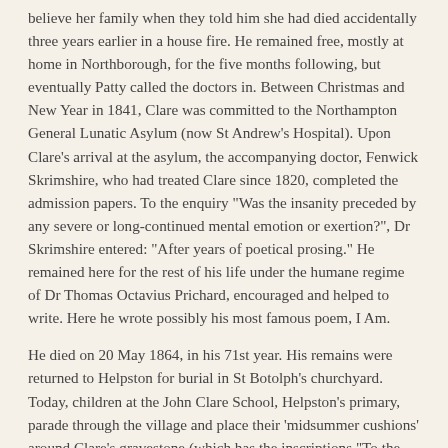believe her family when they told him she had died accidentally three years earlier in a house fire. He remained free, mostly at home in Northborough, for the five months following, but eventually Patty called the doctors in. Between Christmas and New Year in 1841, Clare was committed to the Northampton General Lunatic Asylum (now St Andrew's Hospital). Upon Clare's arrival at the asylum, the accompanying doctor, Fenwick Skrimshire, who had treated Clare since 1820, completed the admission papers. To the enquiry "Was the insanity preceded by any severe or long-continued mental emotion or exertion?", Dr Skrimshire entered: "After years of poetical prosing." He remained here for the rest of his life under the humane regime of Dr Thomas Octavius Prichard, encouraged and helped to write. Here he wrote possibly his most famous poem, I Am.
He died on 20 May 1864, in his 71st year. His remains were returned to Helpston for burial in St Botolph's churchyard. Today, children at the John Clare School, Helpston's primary, parade through the village and place their 'midsummer cushions' around Clare's gravestone (which has the inscriptions "To the Memory of John Clare The Northamptonshire Peasant Poet" and "A Poet is Born not Made") on his birthday, in honour of their most famous resident. The thatched cottage where he was born was bought by the John Clare Education & Environment Trust in 2005 and is restoring the cottage to its 18th century state.
Poetry
In his time, Clare was commonly known as "the Northamptonshire Peasant Poet". Since his formal education was brief, Clare resisted